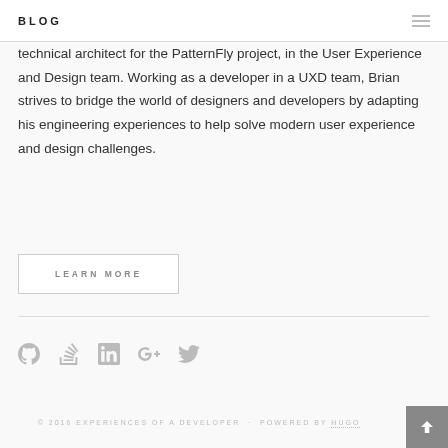BLOG
technical architect for the PatternFly project, in the User Experience and Design team. Working as a developer in a UXD team, Brian strives to bridge the world of designers and developers by adapting his engineering experiences to help solve modern user experience and design challenges.
LEARN MORE
[Figure (infographic): Social media icons: GitHub, Stack Overflow, LinkedIn, Google+, Twitter]
© 2016 EXPERIENCES OF A DEVELOPER · POWERED BY HUGO